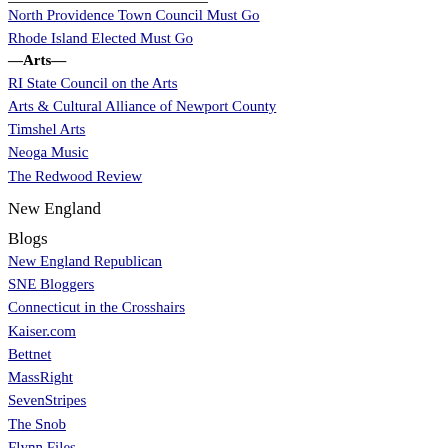North Providence Town Council Must Go
Rhode Island Elected Must Go
—Arts—
RI State Council on the Arts
Arts & Cultural Alliance of Newport County
Timshel Arts
Neoga Music
The Redwood Review
New England Blogs
New England Republican
SNE Bloggers
Connecticut in the Crosshairs
Kaiser.com
Bettnet
MassRight
SevenStripes
The Snob
Flynn Files
Mansfield Fox
Daleynews
Connecticut Conservative
Galois
Maggie's Farm